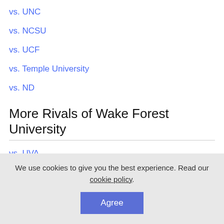vs. UNC
vs. NCSU
vs. UCF
vs. Temple University
vs. ND
More Rivals of Wake Forest University
vs. UVA
vs. Pitt
We use cookies to give you the best experience. Read our cookie policy.